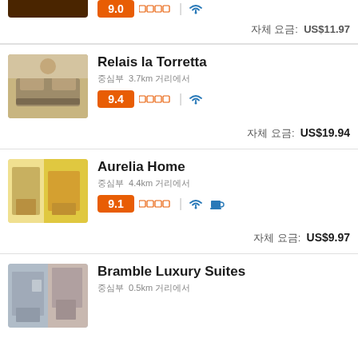9.0 [rating badge] | [wifi icon] — partial top listing price: US$11.97
자체 요금: US$11.97
Relais la Torretta
중심부 3.7km 거리에서
9.4 [stars] | [wifi] — 자체 요금: US$19.94
Aurelia Home
중심부 4.4km 거리에서
9.1 [stars] | [wifi] [coffee] — 자체 요금: US$9.97
Bramble Luxury Suites
중심부 0.5km 거리에서